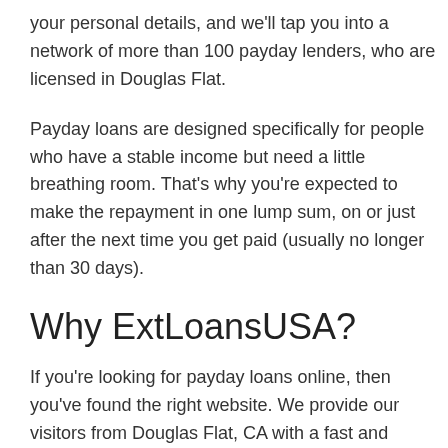your personal details, and we'll tap you into a network of more than 100 payday lenders, who are licensed in Douglas Flat.
Payday loans are designed specifically for people who have a stable income but need a little breathing room. That's why you're expected to make the repayment in one lump sum, on or just after the next time you get paid (usually no longer than 30 days).
Why ExtLoansUSA?
If you're looking for payday loans online, then you've found the right website. We provide our visitors from Douglas Flat, CA with a fast and secure online service.
As long as you have an internet connected device that can browse to our page, you can get started right away!